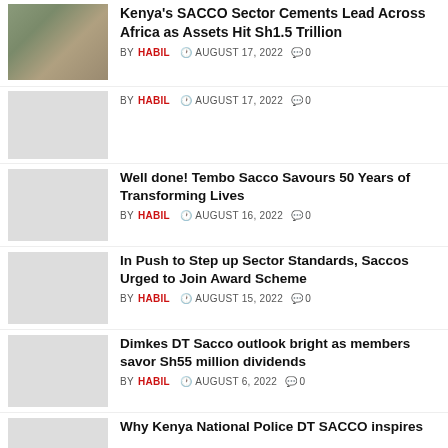[Figure (photo): Photo of people at a market/outdoor setting]
Kenya's SACCO Sector Cements Lead Across Africa as Assets Hit Sh1.5 Trillion
BY HABIL  AUGUST 17, 2022  0
[Figure (photo): Thumbnail placeholder (light gray)]
BY HABIL  AUGUST 17, 2022  0
[Figure (photo): Thumbnail placeholder (light gray)]
Well done! Tembo Sacco Savours 50 Years of Transforming Lives
BY HABIL  AUGUST 16, 2022  0
[Figure (photo): Thumbnail placeholder (light gray)]
In Push to Step up Sector Standards, Saccos Urged to Join Award Scheme
BY HABIL  AUGUST 15, 2022  0
[Figure (photo): Thumbnail placeholder (light gray)]
Dimkes DT Sacco outlook bright as members savor Sh55 million dividends
BY HABIL  AUGUST 6, 2022  0
[Figure (photo): Thumbnail placeholder (light gray)]
Why Kenya National Police DT SACCO inspires